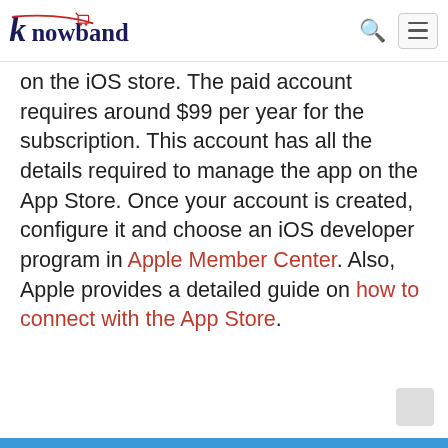Knowband
on the iOS store. The paid account requires around $99 per year for the subscription. This account has all the details required to manage the app on the App Store. Once your account is created, configure it and choose an iOS developer program in Apple Member Center. Also, Apple provides a detailed guide on how to connect with the App Store.